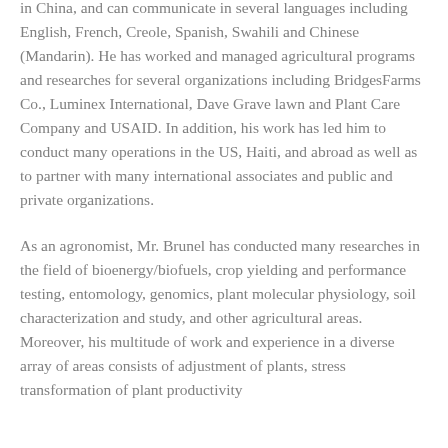in China, and can communicate in several languages including English, French, Creole, Spanish, Swahili and Chinese (Mandarin). He has worked and managed agricultural programs and researches for several organizations including BridgesFarms Co., Luminex International, Dave Grave lawn and Plant Care Company and USAID. In addition, his work has led him to conduct many operations in the US, Haiti, and abroad as well as to partner with many international associates and public and private organizations.
As an agronomist, Mr. Brunel has conducted many researches in the field of bioenergy/biofuels, crop yielding and performance testing, entomology, genomics, plant molecular physiology, soil characterization and study, and other agricultural areas. Moreover, his multitude of work and experience in a diverse array of areas consists of adjustment of plants, stress transformation of plant productivity